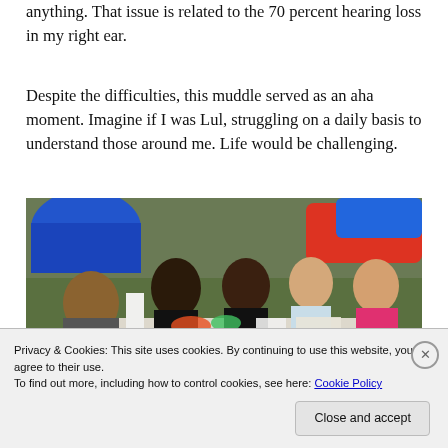anything. That issue is related to the 70 percent hearing loss in my right ear.
Despite the difficulties, this muddle served as an aha moment. Imagine if I was Lul, struggling on a daily basis to understand those around me. Life would be challenging.
[Figure (photo): Children sitting around a table outdoors doing a craft activity, with a blue inflatable structure in the background.]
Privacy & Cookies: This site uses cookies. By continuing to use this website, you agree to their use.
To find out more, including how to control cookies, see here: Cookie Policy
Close and accept